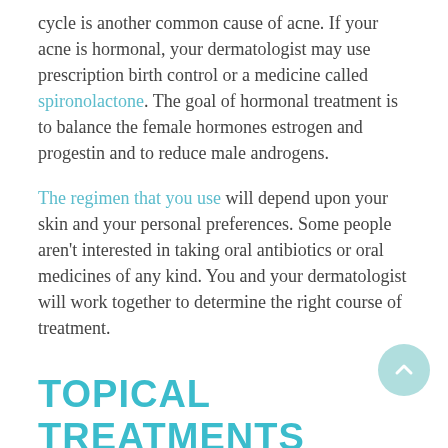cycle is another common cause of acne. If your acne is hormonal, your dermatologist may use prescription birth control or a medicine called spironolactone. The goal of hormonal treatment is to balance the female hormones estrogen and progestin and to reduce male androgens.
The regimen that you use will depend upon your skin and your personal preferences. Some people aren't interested in taking oral antibiotics or oral medicines of any kind. You and your dermatologist will work together to determine the right course of treatment.
TOPICAL TREATMENTS
The backbone of Dr. Zhu's acne regimen is prescription